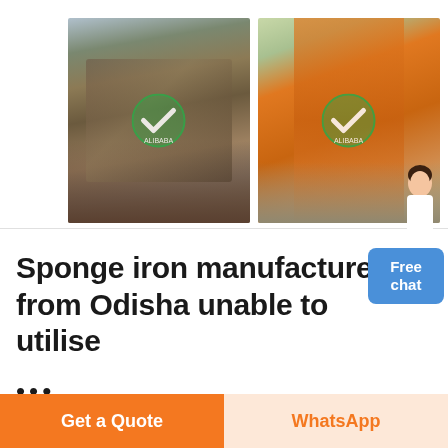[Figure (photo): Two industrial photos side by side: left shows mining/crushing equipment with conveyors and machinery at a site with green watermark overlay; right shows an orange tower crane/crusher machine at a site with green watermark overlay. A customer support character is visible in the lower right area of the image row.]
Sponge iron manufacturers from Odisha unable to utilise
...
Sponge iron manufacturers of Odisha are unable to utilise their capacity due to muted demand from primary and secondary steel
Get a Quote
WhatsApp